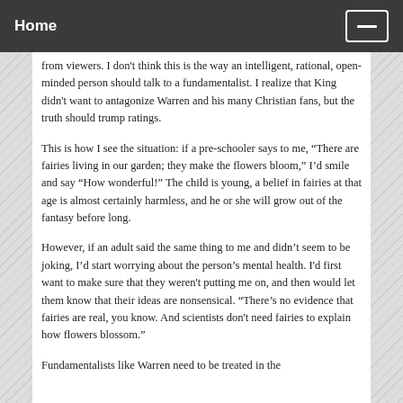Home
from viewers. I don't think this is the way an intelligent, rational, open-minded person should talk to a fundamentalist. I realize that King didn't want to antagonize Warren and his many Christian fans, but the truth should trump ratings.
This is how I see the situation: if a pre-schooler says to me, “There are fairies living in our garden; they make the flowers bloom,” I’d smile and say “How wonderful!” The child is young, a belief in fairies at that age is almost certainly harmless, and he or she will grow out of the fantasy before long.
However, if an adult said the same thing to me and didn’t seem to be joking, I’d start worrying about the person’s mental health. I'd first want to make sure that they weren't putting me on, and then would let them know that their ideas are nonsensical. "There's no evidence that fairies are real, you know. And scientists don't need fairies to explain how flowers blossom."
Fundamentalists like Warren need to be treated in the